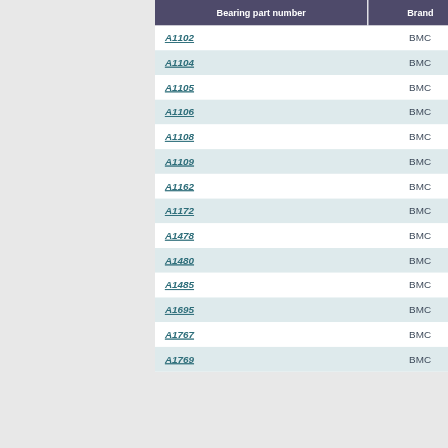| Bearing part number | Brand |
| --- | --- |
| A1102 | BMC |
| A1104 | BMC |
| A1105 | BMC |
| A1106 | BMC |
| A1108 | BMC |
| A1109 | BMC |
| A1162 | BMC |
| A1172 | BMC |
| A1478 | BMC |
| A1480 | BMC |
| A1485 | BMC |
| A1695 | BMC |
| A1767 | BMC |
| A1769 | BMC |